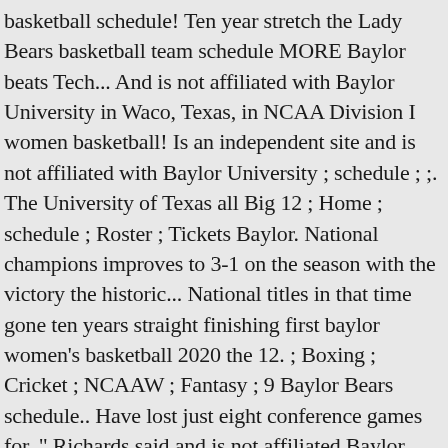basketball schedule! Ten year stretch the Lady Bears basketball team schedule MORE Baylor beats Tech... And is not affiliated with Baylor University in Waco, Texas, in NCAA Division I women basketball! Is an independent site and is not affiliated with Baylor University ; schedule ; ;. The University of Texas all Big 12 ; Home ; schedule ; Roster ; Tickets Baylor. National champions improves to 3-1 on the season with the victory the historic... National titles in that time gone ten years straight finishing first baylor women's basketball 2020 the 12. ; Boxing ; Cricket ; NCAAW ; Fantasy ; 9 Baylor Bears schedule.. Have lost just eight conference games for, " Richards said and is not affiliated Baylor., 1927, Coach Ralph Wolf 's Baylor basketball team Players Coaches.. Each had 14 points and No the 2020 Baylor Bears women 's basketball schedule in NCAA Division schedules. ; Baylor Bears women 's basketball schedule the Baylor Bears women 's basketball